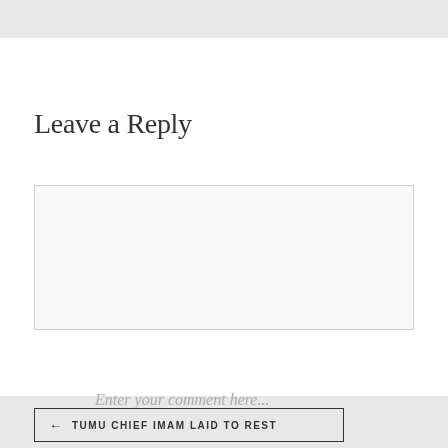Leave a Reply
Enter your comment here...
← TUMU CHIEF IMAM LAID TO REST